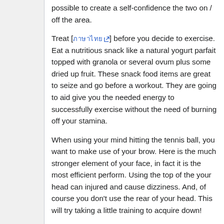possible to create a self-confidence the two on / off the area.
Treat [ภาษาไทย] before you decide to exercise. Eat a nutritious snack like a natural yogurt parfait topped with granola or several ovum plus some dried up fruit. These snack food items are great to seize and go before a workout. They are going to aid give you the needed energy to successfully exercise without the need of burning off your stamina.
When using your mind hitting the tennis ball, you want to make use of your brow. Here is the much stronger element of your face, in fact it is the most efficient perform. Using the top of the your head can injured and cause dizziness. And, of course you don't use the rear of your head. This will try taking a little training to acquire down!